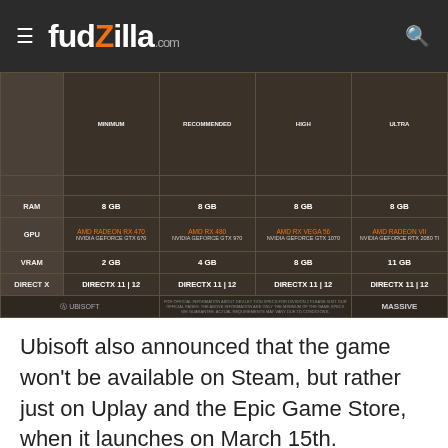fudzilla.com
[Figure (table-as-image): Ubisoft PC system requirements table showing RAM, GPU, VRAM, and DirectX specs for minimum, recommended, high, and ultra presets. RAM: 8GB across all. GPU ranges from AMD Radeon RX 470/NVIDIA GeForce GTX 670 to AMD Radeon VII/NVIDIA GeForce RTX 2080 Ti. VRAM: 2GB, 4GB, 8GB, 11GB. DirectX 11|12 for all.]
Ubisoft also announced that the game won't be available on Steam, but rather just on Uplay and the Epic Game Store, when it launches on March 15th.
Last modified on  11 JANUARY 2019
Rate this item  (0 VOTES)